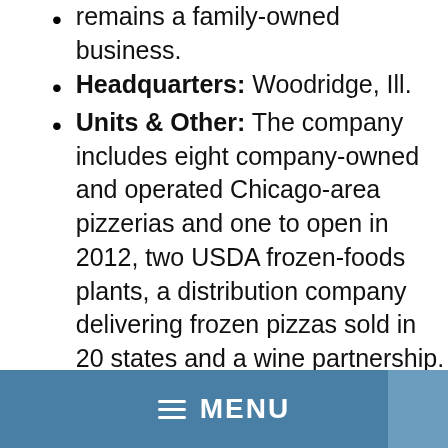remains a family-owned business.
Headquarters: Woodridge, Ill.
Units & Other: The company includes eight company-owned and operated Chicago-area pizzerias and one to open in 2012, two USDA frozen-foods plants, a distribution company delivering frozen pizzas sold in 20 states and a wine partnership.
Unit Size: Varies from Home Run Inn Express at 1,400 sq. ft. to Home Run Inn's original location in Chicago on West 31st Street at 15,000 sq. ft. The full
MENU